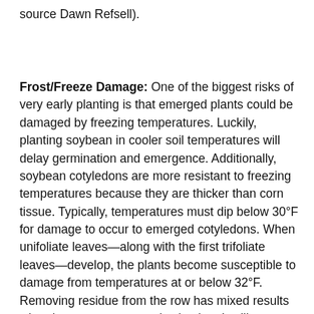source Dawn Refsell).
Frost/Freeze Damage: One of the biggest risks of very early planting is that emerged plants could be damaged by freezing temperatures. Luckily, planting soybean in cooler soil temperatures will delay germination and emergence. Additionally, soybean cotyledons are more resistant to freezing temperatures because they are thicker than corn tissue. Typically, temperatures must dip below 30°F for damage to occur to emerged cotyledons. When unifoliate leaves—along with the first trifoliate leaves—develop, the plants become susceptible to damage from temperatures at or below 32°F. Removing residue from the row has mixed results when it comes to very early planting. It will cause the soil to warm-up sooner and promote earlier germination and emergence, but could also expose the newly emerged plants to greater risk of frost injury.